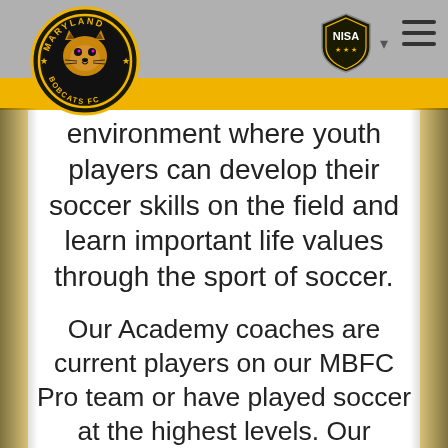[Figure (logo): Maryland Bobcats FC circular logo with bobcat illustration]
[Figure (logo): NISA shield logo with dropdown arrow]
environment where youth players can develop their soccer skills on the field and learn important life values through the sport of soccer.
Our Academy coaches are current players on our MBFC Pro team or have played soccer at the highest levels. Our programs are designed to prepare our players to take their game to the next level with the potential to move up the ladder in our club and join the Maryland Bobcats Reserve and - eventually - Professional team.